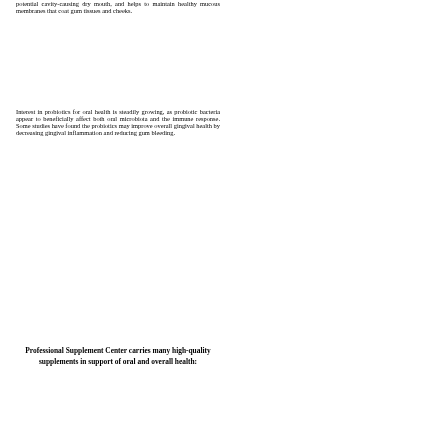potential cavity-causing dry mouth, and helps to maintain healthy mucous membranes that coat gum tissues and cheeks.
Interest in probiotics for oral health is steadily growing, as probiotic bacteria appear to beneficially affect both oral microbiota and the immune response. Some studies have found the probiotics may improve overall gingival health by decreasing gingival inflammation and reducing gum bleeding.
Professional Supplement Center carries many high-quality supplements in support of oral and overall health: